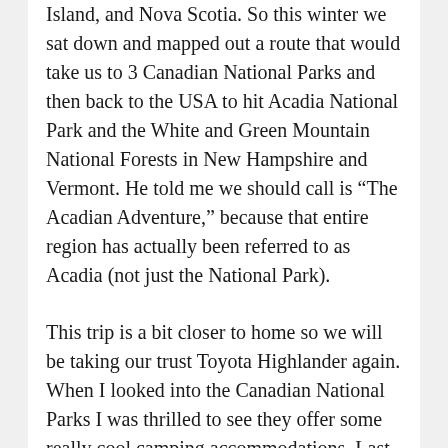Island, and Nova Scotia. So this winter we sat down and mapped out a route that would take us to 3 Canadian National Parks and then back to the USA to hit Acadia National Park and the White and Green Mountain National Forests in New Hampshire and Vermont. He told me we should call is “The Acadian Adventure,” because that entire region has actually been referred to as Acadia (not just the National Park).
This trip is a bit closer to home so we will be taking our trust Toyota Highlander again. When I looked into the Canadian National Parks I was thrilled to see they offer some really cool camping accommodations. Last year’s road trip kind of ruined tent camping for us for a while. Having 20 mph winds whipping across the prairie blowing your tent down on top of you will do that. Fortunately, when I looked into the 3 Canadian National Parks we will be visiting, they offered some non-tent camping options such as yurts, mini-cabins, and something called an Otentik